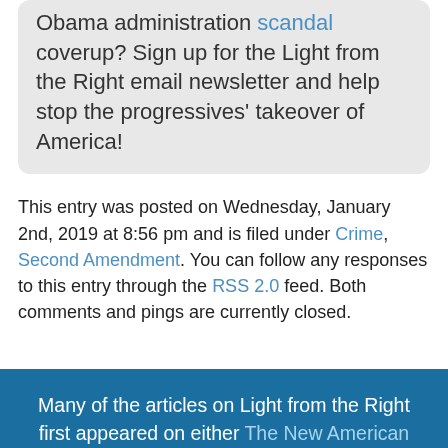Obama administration scandal coverup? Sign up for the Light from the Right email newsletter and help stop the progressives' takeover of America!
This entry was posted on Wednesday, January 2nd, 2019 at 8:56 pm and is filed under Crime, Second Amendment. You can follow any responses to this entry through the RSS 2.0 feed. Both comments and pings are currently closed.
Many of the articles on Light from the Right first appeared on either The New American or the McAlvany Intelligence Advisor.